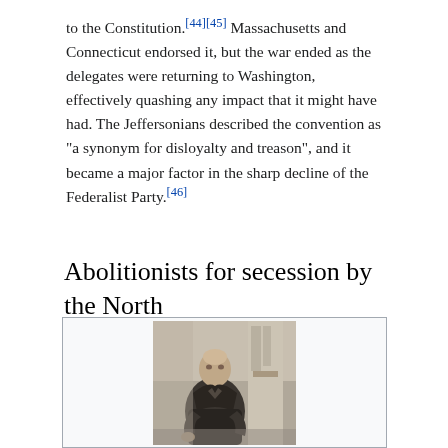to the Constitution.[44][45] Massachusetts and Connecticut endorsed it, but the war ended as the delegates were returning to Washington, effectively quashing any impact that it might have had. The Jeffersonians described the convention as "a synonym for disloyalty and treason", and it became a major factor in the sharp decline of the Federalist Party.[46]
Abolitionists for secession by the North
[Figure (photo): Black and white photograph of an elderly man in a long coat, seated, with a decorative column or pillar visible in the background.]